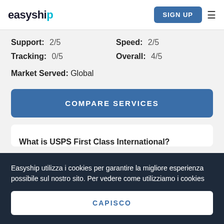easyship | SIGN UP
Support: 2/5   Speed: 2/5
Tracking: 0/5   Overall: 4/5
Market Served: Global
COMPARE SERVICES
What is USPS First Class International?
Easyship utilizza i cookies per garantire la migliore esperienza possibile sul nostro sito. Per vedere come utilizziamo i cookies
CAPISCO